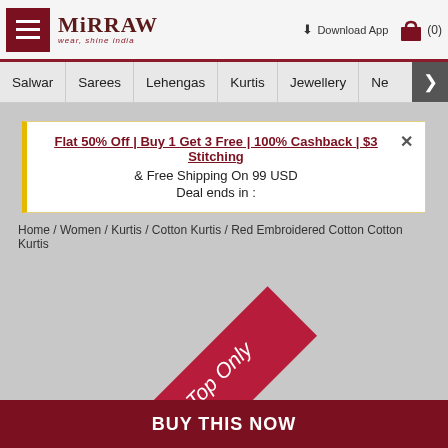Mirraw header with hamburger menu, logo, Download App, and cart (0)
Salwar | Sarees | Lehengas | Kurtis | Jewellery | Ne >
Flat 50% Off | Buy 1 Get 3 Free | 100% Cashback | $3 Stitching & Free Shipping On 99 USD Deal ends in :
Home / Women / Kurtis / Cotton Kurtis / Red Embroidered Cotton Cotton Kurtis
[Figure (illustration): Red diagonal ribbon banner with text 'Top Only' on a grey product image background]
BUY THIS NOW